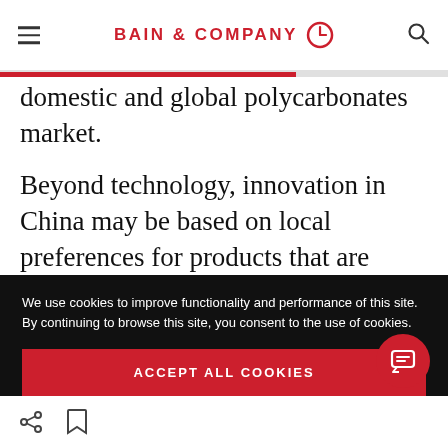BAIN & COMPANY
domestic and global polycarbonates market.
Beyond technology, innovation in China may be based on local preferences for products that are more popular than in other markets—for example, skin lightener. In some cases, B2B customers ask for different recipes based on their
We use cookies to improve functionality and performance of this site. By continuing to browse this site, you consent to the use of cookies.
ACCEPT ALL COOKIES